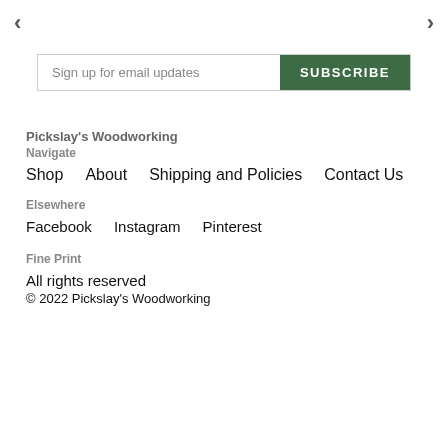[Figure (other): Navigation arrows (left chevron and right chevron) for a carousel]
Sign up for email updates
SUBSCRIBE
Pickslay's Woodworking
Navigate
Shop
About
Shipping and Policies
Contact Us
Elsewhere
Facebook
Instagram
Pinterest
Fine Print
All rights reserved
© 2022 Pickslay's Woodworking